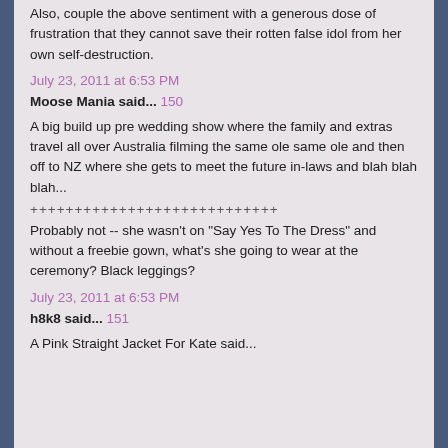Also, couple the above sentiment with a generous dose of frustration that they cannot save their rotten false idol from her own self-destruction.
July 23, 2011 at 6:53 PM
Moose Mania said... 150
A big build up pre wedding show where the family and extras travel all over Australia filming the same ole same ole and then off to NZ where she gets to meet the future in-laws and blah blah blah...
++++++++++++++++++++++++++++
Probably not -- she wasn't on "Say Yes To The Dress" and without a freebie gown, what's she going to wear at the ceremony? Black leggings?
July 23, 2011 at 6:53 PM
h8k8 said... 151
A Pink Straight Jacket For Kate said...